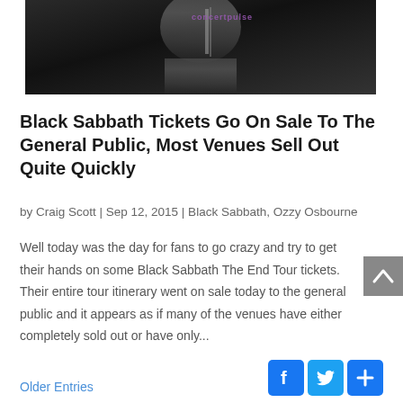[Figure (photo): Black and white concert photo of a performer on stage, with purple 'concertpulse' watermark text visible]
Black Sabbath Tickets Go On Sale To The General Public, Most Venues Sell Out Quite Quickly
by Craig Scott | Sep 12, 2015 | Black Sabbath, Ozzy Osbourne
Well today was the day for fans to go crazy and try to get their hands on some Black Sabbath The End Tour tickets. Their entire tour itinerary went on sale today to the general public and it appears as if many of the venues have either completely sold out or have only...
Older Entries